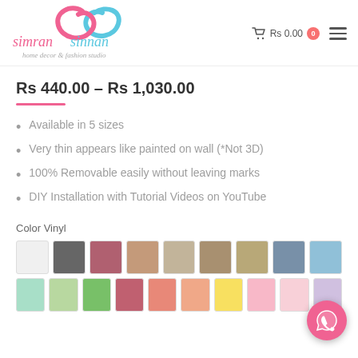[Figure (logo): Simran Sinnan home decor & fashion studio logo with pink and blue swirl graphic]
Rs 0.00  0
Rs 440.00 – Rs 1,030.00
Available in 5 sizes
Very thin appears like painted on wall (*Not 3D)
100% Removable easily without leaving marks
DIY Installation with Tutorial Videos on YouTube
Color Vinyl
[Figure (other): Color vinyl swatches: white/light grey, dark grey, dusty rose/mauve, tan/beige, light taupe, medium taupe, khaki/gold, slate blue, sky blue (row 1); mint green, light green, medium green, dusty red, salmon/coral, peach/apricot, yellow, light pink, pale pink, lavender (row 2)]